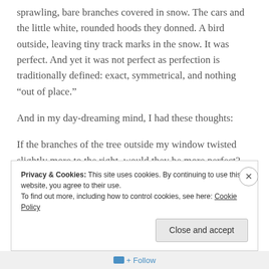sprawling, bare branches covered in snow. The cars and the little white, rounded hoods they donned. A bird outside, leaving tiny track marks in the snow. It was perfect. And yet it was not perfect as perfection is traditionally defined: exact, symmetrical, and nothing “out of place.”
And in my day-dreaming mind, I had these thoughts:
If the branches of the tree outside my window twisted slightly more to the right, would they be more perfect?
Privacy & Cookies: This site uses cookies. By continuing to use this website, you agree to their use.
To find out more, including how to control cookies, see here: Cookie Policy
Close and accept